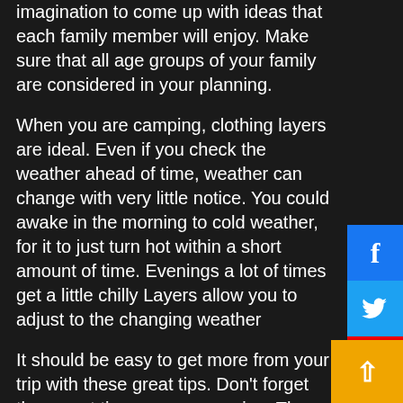imagination to come up with ideas that each family member will enjoy. Make sure that all age groups of your family are considered in your planning.
When you are camping, clothing layers are ideal. Even if you check the weather ahead of time, weather can change with very little notice. You could awake in the morning to cold weather, for it to just turn hot within a short amount of time. Evenings a lot of times get a little chilly Layers allow you to adjust to the changing weather
It should be easy to get more from your trip with these great tips. Don’t forget them next time you go camping. The tips will help you avoid forgetting, and you can have the most enjoyable time of your life.
Your tent should be kept dry and well ventilated.
[Figure (infographic): Social media sidebar buttons: Facebook (blue), Twitter (light blue), YouTube (red), Instagram (dark gray)]